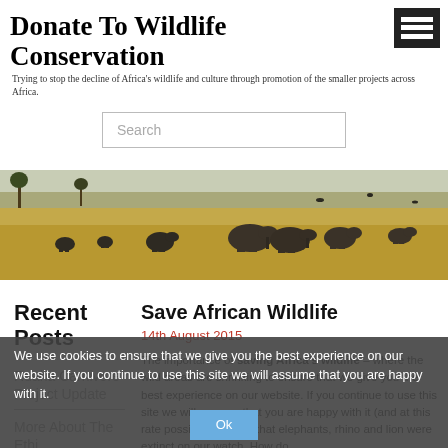Donate To Wildlife Conservation
Trying to stop the decline of Africa's wildlife and culture through promotion of the smaller projects across Africa.
[Figure (screenshot): Search input box with placeholder text 'Search']
[Figure (photo): Wide landscape photograph of elephants grazing on African savanna with dry grassland and scattered trees]
Recent Posts
Save African Wildlife
14th August 2015
Ruaha Carnivore Project Update
More About The Ethio...
The importance of saving Africa's wildlife – where the wild areas are shrinking to ensure that we give you the best experience on our website. If you continue to use this site we will assume that you are happy with it (and at this rate possibly children) that elephants, rhino and lion were extinct on our watch. How do
We use cookies to ensure that we give you the best experience on our website. If you continue to use this site we will assume that you are happy with it.
Ok